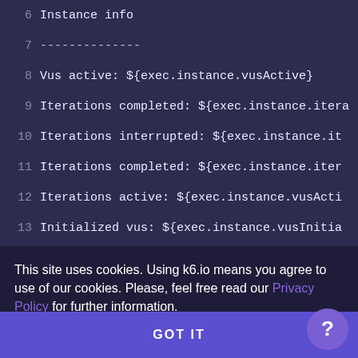[Figure (screenshot): Code editor screenshot showing lines 6-17 of a k6 script with instance and scenario info template literals in a dark purple theme]
This site uses cookies. Using k6.io means you agree to use of our cookies. Please, feel free read our Privacy Policy for further information.
GOT IT